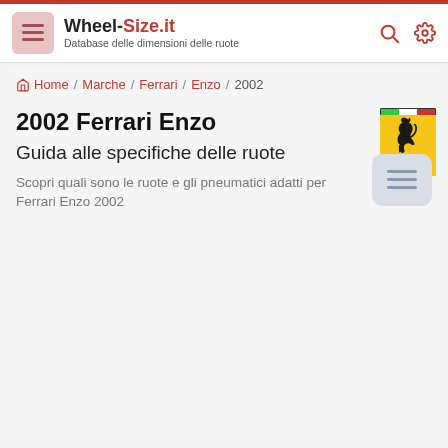Wheel-Size.it — Database delle dimensioni delle ruote
Home / Marche / Ferrari / Enzo / 2002
2002 Ferrari Enzo
Guida alle specifiche delle ruote
Scopri quali sono le ruote e gli pneumatici adatti per Ferrari Enzo 2002
[Figure (logo): Ferrari prancing horse logo on yellow background with red/green/white stripes at top]